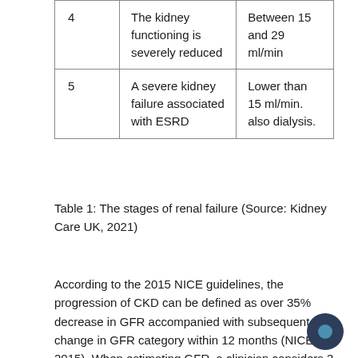| 4 | The kidney functioning is severely reduced | Between 15 and 29 ml/min |
| 5 | A severe kidney failure associated with ESRD | Lower than 15 ml/min. also dialysis. |
Table 1: The stages of renal failure (Source: Kidney Care UK, 2021)
According to the 2015 NICE guidelines, the progression of CKD can be defined as over 35% decrease in GFR accompanied with subsequent change in GFR category within 12 months (NICE, 2015). When estimating GFR, a clinician considers 3 GFR estimations within a period of